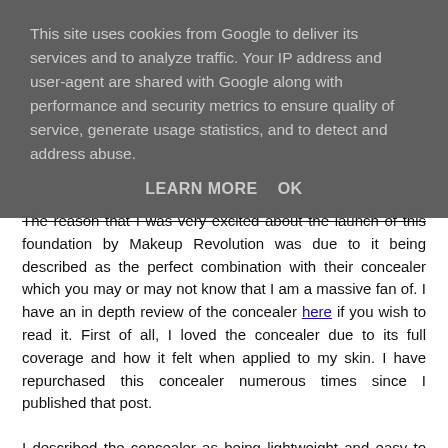This site uses cookies from Google to deliver its services and to analyze traffic. Your IP address and user-agent are shared with Google along with performance and security metrics to ensure quality of service, generate usage statistics, and to detect and address abuse.
LEARN MORE   OK
The reason that I was very excited about the launch of this foundation by Makeup Revolution was due to it being described as the perfect combination with their concealer which you may or may not know that I am a massive fan of. I have an in depth review of the concealer here if you wish to read it. First of all, I loved the concealer due to its full coverage and how it felt when applied to my skin. I have repurchased this concealer numerous times since I published that post.
I described the concealer as being lightweight and easy to apply, and I agree with this when also describing the foundation. It once again comes with a doe foot applicator which is huge and I think it fine with the concealer as you are applying it to a precise area. However, with the foundation